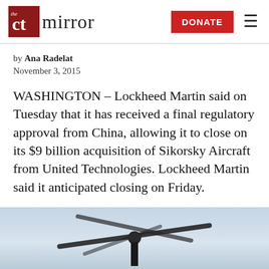The CT Mirror — DONATE
by Ana Radelat
November 3, 2015
WASHINGTON – Lockheed Martin said on Tuesday that it has received a final regulatory approval from China, allowing it to close on its $9 billion acquisition of Sikorsky Aircraft from United Technologies. Lockheed Martin said it anticipated closing on Friday.
[Figure (photo): Photograph of a helicopter rotor/blade against a light sky background]